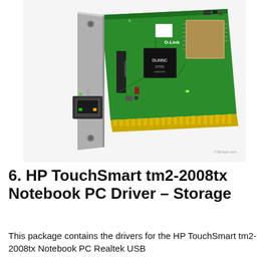[Figure (photo): Photo of a D-Link PCI network interface card (NIC) with green PCB, gold edge connector, RJ45 port on metal bracket, and DLinkNC chip visible. Watermark '© 8Driver.com' in bottom-right corner.]
6. HP TouchSmart tm2-2008tx Notebook PC Driver – Storage
This package contains the drivers for the HP TouchSmart tm2-2008tx Notebook PC Realtek USB